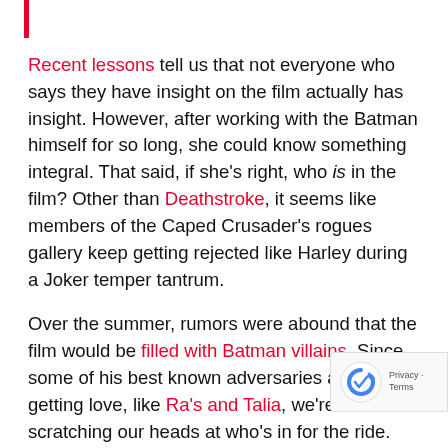Recent lessons tell us that not everyone who says they have insight on the film actually has insight. However, after working with the Batman himself for so long, she could know something integral. That said, if she's right, who is in the film? Other than Deathstroke, it seems like members of the Caped Crusader's rogues gallery keep getting rejected like Harley during a Joker temper tantrum.
Over the summer, rumors were abound that the film would be filled with Batman villains. Since some of his best known adversaries aren't getting love, like Ra's and Talia, we're left scratching our heads at who's in for the ride. Deathstroke himself is an odd choice, mostly because he's more of a Titans foe. But his DCEU debut could spell interesting things to come. Could obscure, or lesser characters begin getting spotlight? Perhaps Professor Hugo Strange will pop up. Maybe someone like Wrath